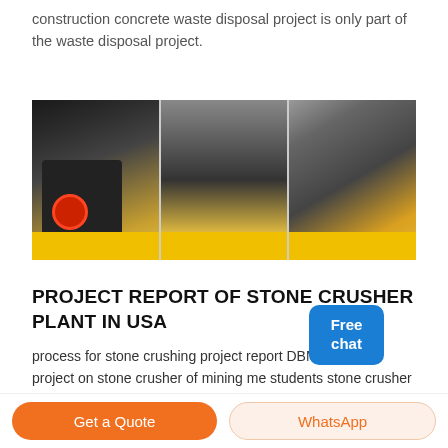construction concrete waste disposal project is only part of the waste disposal project.
[Figure (photo): Three industrial stone crusher machines in a factory/warehouse setting. Each machine sits on a yellow platform. The machines are large, heavy-duty crushing equipment shown from different angles.]
PROJECT REPORT OF STONE CRUSHER PLANT IN USA
process for stone crushing project report DBM Crusher. project on stone crusher of mining me students stone crusher mining iron ore china project report for stone crushing unit crusher cone small stone crushers for mining in india cone crusher manufacturer in
Get a Quote
WhatsApp